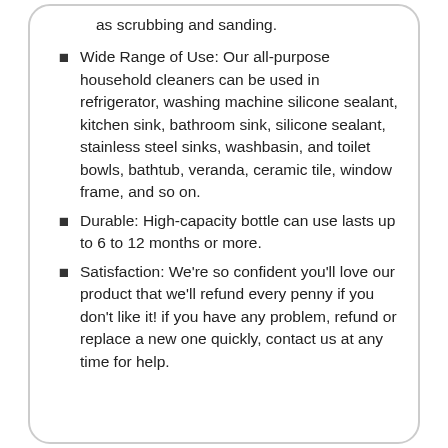as scrubbing and sanding.
Wide Range of Use: Our all-purpose household cleaners can be used in refrigerator, washing machine silicone sealant, kitchen sink, bathroom sink, silicone sealant, stainless steel sinks, washbasin, and toilet bowls, bathtub, veranda, ceramic tile, window frame, and so on.
Durable: High-capacity bottle can use lasts up to 6 to 12 months or more.
Satisfaction: We're so confident you'll love our product that we'll refund every penny if you don't like it! if you have any problem, refund or replace a new one quickly, contact us at any time for help.